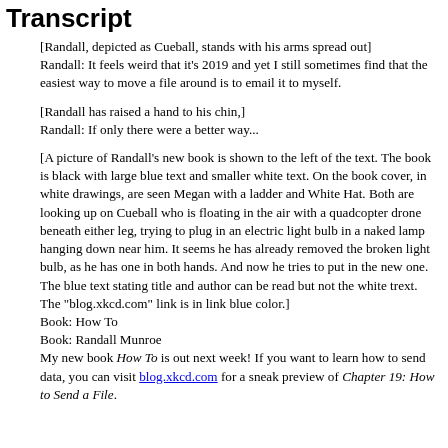Transcript
[Randall, depicted as Cueball, stands with his arms spread out]
Randall: It feels weird that it's 2019 and yet I still sometimes find that the easiest way to move a file around is to email it to myself.
[Randall has raised a hand to his chin,]
Randall: If only there were a better way...
[A picture of Randall's new book is shown to the left of the text. The book is black with large blue text and smaller white text. On the book cover, in white drawings, are seen Megan with a ladder and White Hat. Both are looking up on Cueball who is floating in the air with a quadcopter drone beneath either leg, trying to plug in an electric light bulb in a naked lamp hanging down near him. It seems he has already removed the broken light bulb, as he has one in both hands. And now he tries to put in the new one. The blue text stating title and author can be read but not the white trext. The "blog.xkcd.com" link is in link blue color.]
Book: How To
Book: Randall Munroe
My new book How To is out next week! If you want to learn how to send data, you can visit blog.xkcd.com for a sneak preview of Chapter 19: How to Send a File.